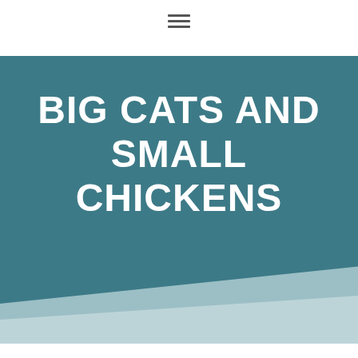[Figure (illustration): Hamburger menu icon (three horizontal lines) at top center of page]
[Figure (illustration): Teal/dark blue-green rectangular banner background with angled bottom edge, with a lighter teal triangular shape beneath it]
BIG CATS AND SMALL CHICKENS